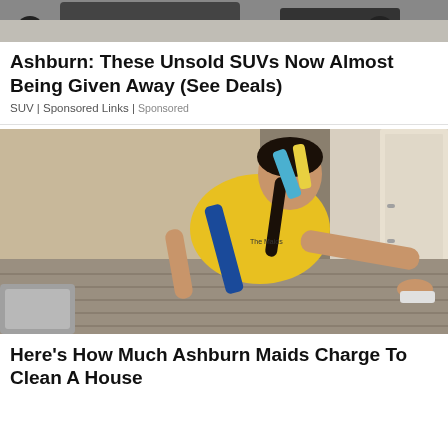[Figure (photo): Top portion of a car advertisement image showing a vehicle partially visible]
Ashburn: These Unsold SUVs Now Almost Being Given Away (See Deals)
SUV | Sponsored Links | Sponsored
[Figure (photo): A woman in a yellow and blue uniform cleaning a hardwood floor on hands and knees, with a gray bin visible in the bottom left corner]
Here's How Much Ashburn Maids Charge To Clean A House